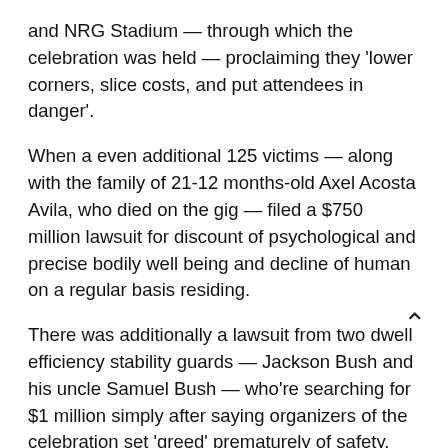and NRG Stadium — through which the celebration was held — proclaiming they 'lower corners, slice costs, and put attendees in danger'.
When a even additional 125 victims — along with the family of 21-12 months-old Axel Acosta Avila, who died on the gig — filed a $750 million lawsuit for discount of psychological and precise bodily well being and decline of human on a regular basis residing.
There was additionally a lawsuit from two dwell efficiency stability guards — Jackson Bush and his uncle Samuel Bush — who're searching for $1 million simply after saying organizers of the celebration set 'greed' prematurely of safety.
And the members of the family of the tragedy's second-youngest goal, 14-12 months-old John Hilgert, submitted their very own lawsuit in